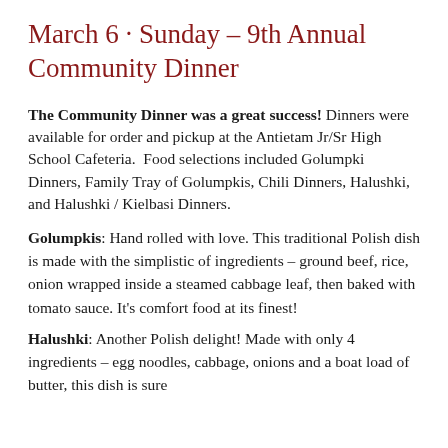March 6 · Sunday – 9th Annual Community Dinner
The Community Dinner was a great success! Dinners were available for order and pickup at the Antietam Jr/Sr High School Cafeteria. Food selections included Golumpki Dinners, Family Tray of Golumpkis, Chili Dinners, Halushki, and Halushki / Kielbasi Dinners.
Golumpkis: Hand rolled with love. This traditional Polish dish is made with the simplistic of ingredients – ground beef, rice, onion wrapped inside a steamed cabbage leaf, then baked with tomato sauce. It's comfort food at its finest!
Halushki: Another Polish delight! Made with only 4 ingredients – egg noodles, cabbage, onions and a boat load of butter, this dish is sure